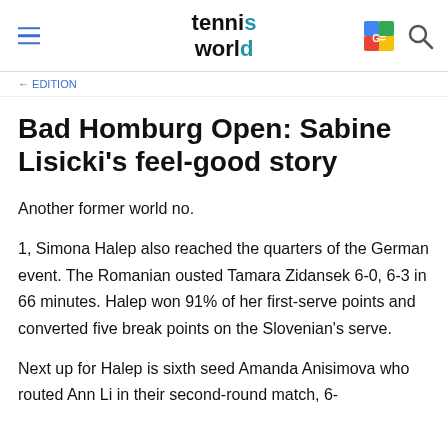tennis world
← EDITION
Bad Homburg Open: Sabine Lisicki's feel-good story
Another former world no.
1, Simona Halep also reached the quarters of the German event. The Romanian ousted Tamara Zidansek 6-0, 6-3 in 66 minutes. Halep won 91% of her first-serve points and converted five break points on the Slovenian's serve.
Next up for Halep is sixth seed Amanda Anisimova who routed Ann Li in their second-round match, 6-